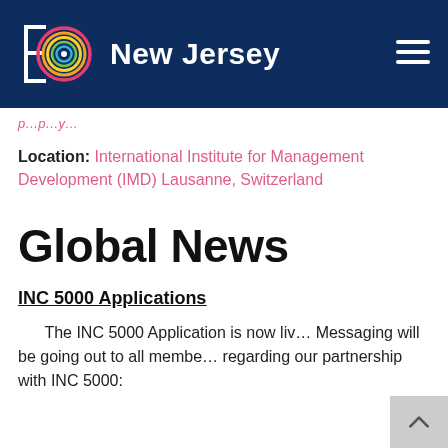[Figure (logo): EO New Jersey logo with colorful circular icon on dark navy header bar]
International Institute for Management Development (IMD) Lausanne, Switzerland
Location: International Institute for Management Development (IMD) Lausanne, Switzerland
Global News
INC 5000 Applications
The INC 5000 Application is now liv… Messaging will be going out to all membe… regarding our partnership with INC 5000: